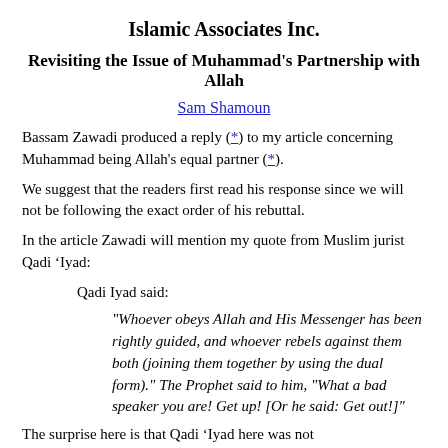Islamic Associates Inc.
Revisiting the Issue of Muhammad's Partnership with Allah
Sam Shamoun
Bassam Zawadi produced a reply (*) to my article concerning Muhammad being Allah's equal partner (*).
We suggest that the readers first read his response since we will not be following the exact order of his rebuttal.
In the article Zawadi will mention my quote from Muslim jurist Qadi ‘Iyad:
Qadi Iyad said:
"Whoever obeys Allah and His Messenger has been rightly guided, and whoever rebels against them both (joining them together by using the dual form)." The Prophet said to him, "What a bad speaker you are! Get up! [Or he said: Get out!]"
The surprise here is that Qadi 'Iyad here was not